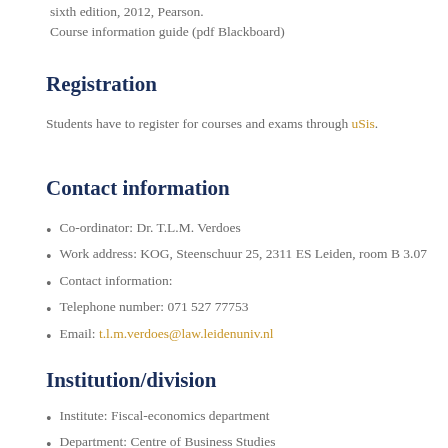sixth edition, 2012, Pearson.
Course information guide (pdf Blackboard)
Registration
Students have to register for courses and exams through uSis.
Contact information
Co-ordinator: Dr. T.L.M. Verdoes
Work address: KOG, Steenschuur 25, 2311 ES Leiden, room B 3.07
Contact information:
Telephone number: 071 527 77753
Email: t.l.m.verdoes@law.leidenuniv.nl
Institution/division
Institute: Fiscal-economics department
Department: Centre of Business Studies